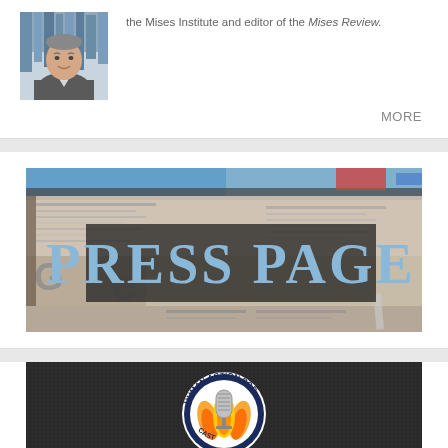the Mises Institute and editor of the Mises Review.
MORE
[Figure (photo): Stack of newspapers with 'PRESS PAGE' text overlay in light blue on a dark semi-transparent background]
[Figure (logo): Human Action Podcast logo — circular badge with a vintage microphone surrounded by flames on a dark fabric background]